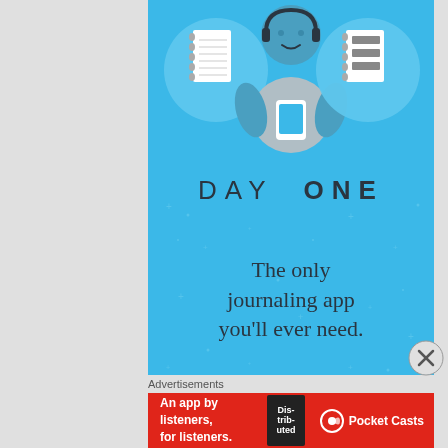[Figure (illustration): Day One app advertisement on a bright blue background with illustration of a person holding a phone, a spiral notebook, and a checklist notebook in circles. Text reads 'DAY ONE' and 'The only journaling app you'll ever need.']
Advertisements
[Figure (illustration): Pocket Casts advertisement banner: red background with text 'An app by listeners, for listeners.' with Pocket Casts logo and a phone image showing a book cover 'Distributed'.]